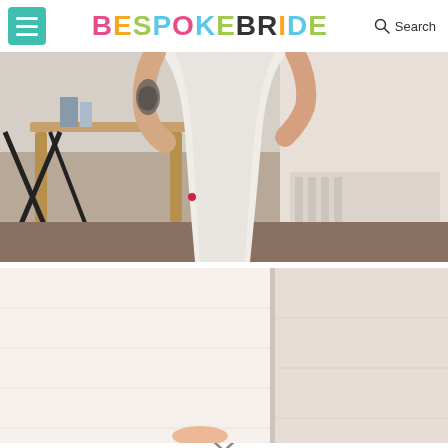BESPOKE BRIDE
[Figure (photo): Close-up photo of a bride in a white wedding dress being helped or fitted, with a visible arm tattoo, in a bright room with wooden furniture]
[Figure (photo): Partial view of a bright white room, appears to show a wedding dress or bridal accessories, split into two panels]